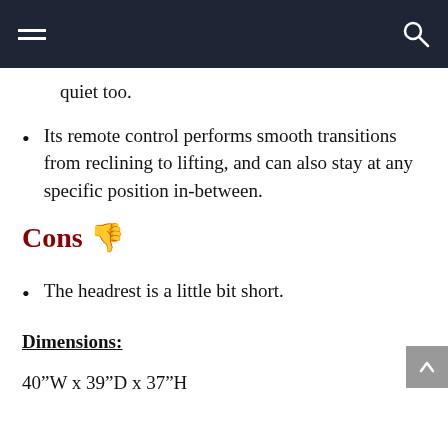[Navigation bar with hamburger menu and search icon]
quiet too.
Its remote control performs smooth transitions from reclining to lifting, and can also stay at any specific position in-between.
Cons 👎
The headrest is a little bit short.
Dimensions:
40"W x 39"D x 37"H